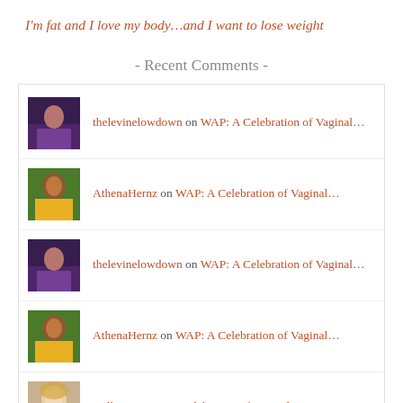I'm fat and I love my body…and I want to lose weight
- Recent Comments -
thelevinelowdown on WAP: A Celebration of Vaginal…
AthenaHernz on WAP: A Celebration of Vaginal…
thelevinelowdown on WAP: A Celebration of Vaginal…
AthenaHernz on WAP: A Celebration of Vaginal…
Kelly on WAP: A Celebration of Vaginal…